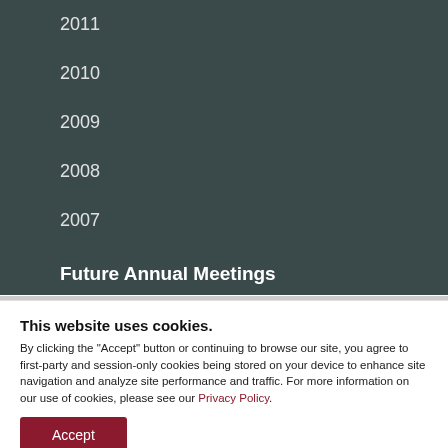2011
2010
2009
2008
2007
Future Annual Meetings
This website uses cookies. By clicking the "Accept" button or continuing to browse our site, you agree to first-party and session-only cookies being stored on your device to enhance site navigation and analyze site performance and traffic. For more information on our use of cookies, please see our Privacy Policy.